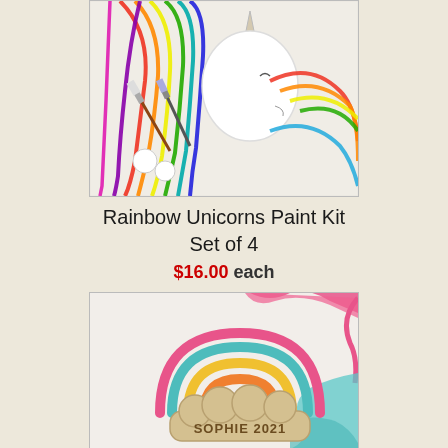[Figure (photo): Rainbow unicorn paint kit with colorful yarn mane and paintbrushes on white fabric background]
Rainbow Unicorns Paint Kit
Set of 4
$16.00 each
[Figure (photo): Personalized rainbow macrame/yarn craft ornament with wooden tag reading SOPHIE 2021, with colorful pink, teal and yellow yarn on white background]